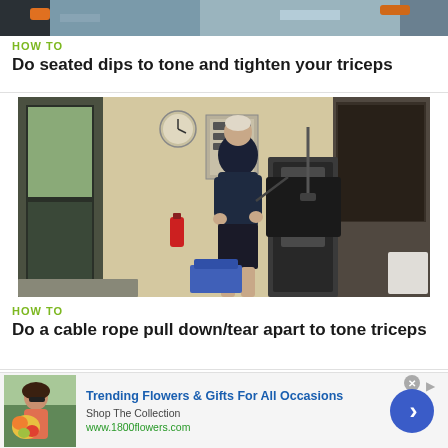[Figure (photo): Partial view of a person doing exercise, cropped top image showing arms/feet]
HOW TO
Do seated dips to tone and tighten your triceps
[Figure (photo): Man exercising in a gym using cable rope pull down machine, side view, gym equipment visible in background]
HOW TO
Do a cable rope pull down/tear apart to tone triceps
[Figure (photo): Advertisement showing woman with flowers - Trending Flowers & Gifts For All Occasions, 1800flowers.com]